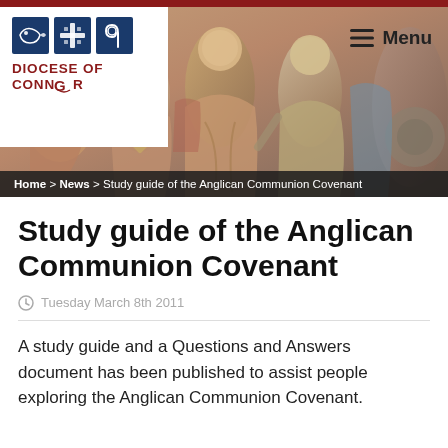[Figure (logo): Diocese of Connor logo with three icon squares and text]
[Figure (photo): Fresco/mural painting with robed figures in warm earth tones forming the hero banner]
Home > News > Study guide of the Anglican Communion Covenant
Study guide of the Anglican Communion Covenant
Tuesday March 8th 2011
A study guide and a Questions and Answers document has been published to assist people exploring the Anglican Communion Covenant.